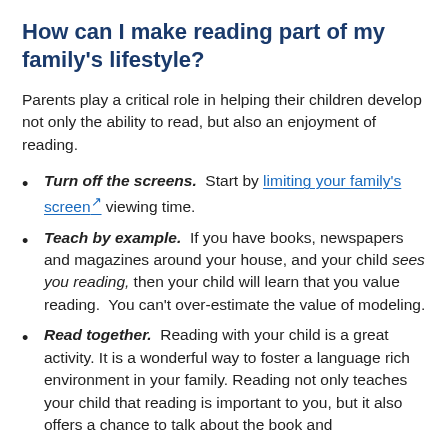How can I make reading part of my family's lifestyle?
Parents play a critical role in helping their children develop not only the ability to read, but also an enjoyment of reading.
Turn off the screens.  Start by limiting your family's screen viewing time.
Teach by example.  If you have books, newspapers and magazines around your house, and your child sees you reading, then your child will learn that you value reading.  You can't over-estimate the value of modeling.
Read together.  Reading with your child is a great activity. It is a wonderful way to foster a language rich environment in your family. Reading not only teaches your child that reading is important to you, but it also offers a chance to talk about the book and